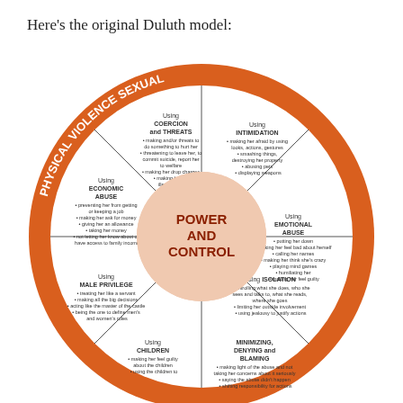Here’s the original Duluth model:
[Figure (infographic): The Duluth Model Power and Control Wheel diagram. A circular wheel with 'POWER AND CONTROL' at the center, surrounded by 8 segments: Using Coercion and Threats, Using Intimidation, Using Emotional Abuse, Using Isolation, Minimizing Denying and Blaming, Using Children, Using Male Privilege, Using Economic Abuse. The outer ring reads 'PHYSICAL VIOLENCE SEXUAL'. Each segment contains bullet points describing abusive behaviors.]